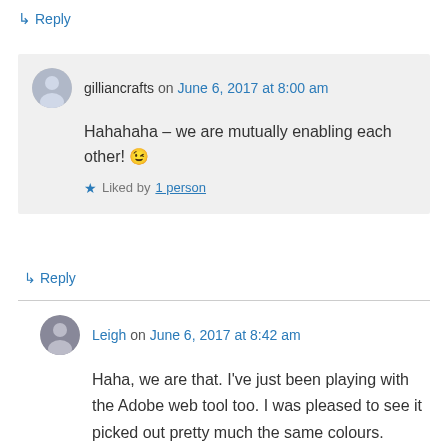↳ Reply
gilliancrafts on June 6, 2017 at 8:00 am
Hahahaha – we are mutually enabling each other! 😉
Liked by 1 person
↳ Reply
Leigh on June 6, 2017 at 8:42 am
Haha, we are that. I've just been playing with the Adobe web tool too. I was pleased to see it picked out pretty much the same colours.